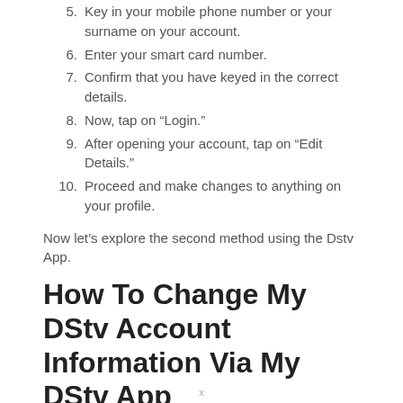5. Key in your mobile phone number or your surname on your account.
6. Enter your smart card number.
7. Confirm that you have keyed in the correct details.
8. Now, tap on “Login.”
9. After opening your account, tap on “Edit Details.”
10. Proceed and make changes to anything on your profile.
Now let’s explore the second method using the Dstv App.
How To Change My DStv Account Information Via My DStv App